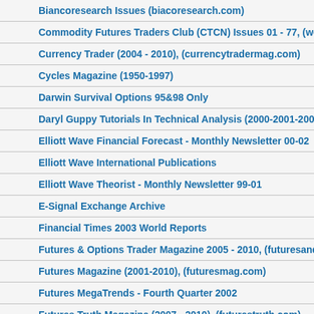Biancoresearch Issues (biacoresearch.com)
Commodity Futures Traders Club (CTCN) Issues 01 - 77, (webt…
Currency Trader (2004 - 2010), (currencytradermag.com)
Cycles Magazine (1950-1997)
Darwin Survival Options 95&98 Only
Daryl Guppy Tutorials In Technical Analysis (2000-2001-2003-2…
Elliott Wave Financial Forecast - Monthly Newsletter 00-02
Elliott Wave International Publications
Elliott Wave Theorist - Monthly Newsletter 99-01
E-Signal Exchange Archive
Financial Times 2003 World Reports
Futures & Options Trader Magazine 2005 - 2010, (futuresandop…
Futures Magazine (2001-2010), (futuresmag.com)
Futures MegaTrends - Fourth Quarter 2002
Futures Truth Magazine (2007 - 2010), (futurestruth.com)